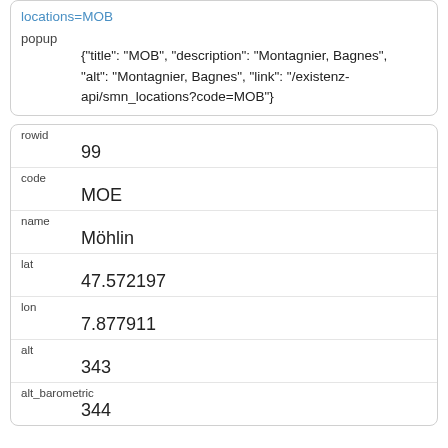locations=MOB (link)
popup
{"title": "MOB", "description": "Montagnier, Bagnes", "alt": "Montagnier, Bagnes", "link": "/existenz-api/smn_locations?code=MOB"}
| rowid | 99 |
| code | MOE |
| name | Möhlin |
| lat | 47.572197 |
| lon | 7.877911 |
| alt | 343 |
| alt_barometric | 344 |